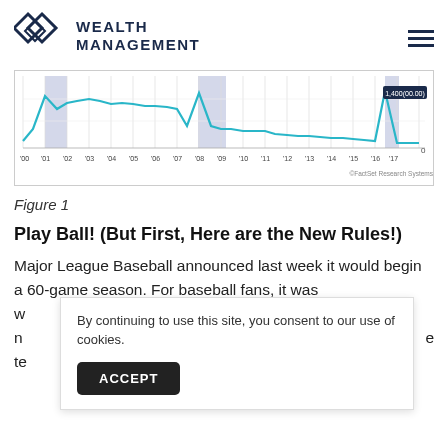Wealth Management
[Figure (continuous-plot): Line chart with shaded areas showing financial data from year 2000 to 2019. Blue shaded regions around 2001 and 2008-2009. A teal/blue line trends downward overall. X-axis labels: '00 '01 '02 '03 '04 '05 '06 '07 '08 '09 '10 '11 '12 '13 '14 '15 '16 '17 '18 '19. Source: ©FactSet Research Systems]
Figure 1
Play Ball! (But First, Here are the New Rules!)
Major League Baseball announced last week it would begin a 60-game season. For baseball fans, it was w
n e
te